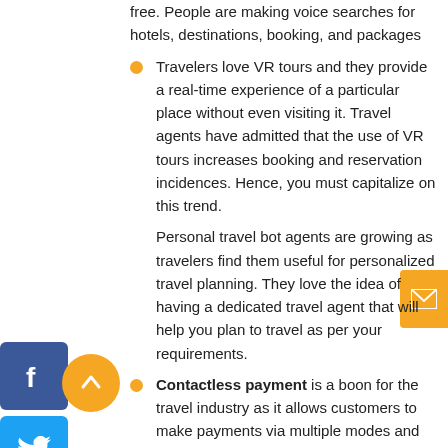free. People are making voice searches for hotels, destinations, booking, and packages
Travelers love VR tours and they provide a real-time experience of a particular place without even visiting it. Travel agents have admitted that the use of VR tours increases booking and reservation incidences. Hence, you must capitalize on this trend.
Personal travel bot agents are growing as travelers find them useful for personalized travel planning. They love the idea of having a dedicated travel agent that will help you plan to travel as per your requirements.
Contactless payment is a boon for the travel industry as it allows customers to make payments via multiple modes and at least possible hassles. Such payments are quick and bring discounts/coupons.
Social media travel planning is one feature customers seek in a travel app. They want the app